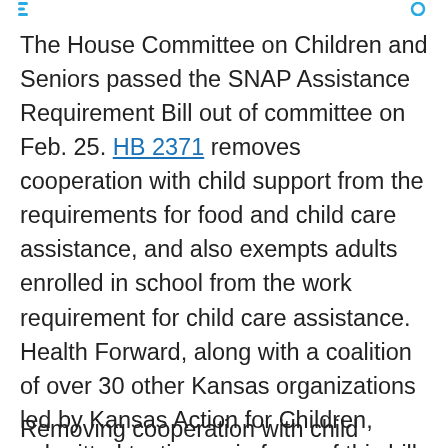[navigation icons]
The House Committee on Children and Seniors passed the SNAP Assistance Requirement Bill out of committee on Feb. 25. HB 2371 removes cooperation with child support from the requirements for food and child care assistance, and also exempts adults enrolled in school from the work requirement for child care assistance. Health Forward, along with a coalition of over 30 other Kansas organizations led by Kansas Action for Children, submitted testimony in favor of this bill.
Removing cooperation with child support